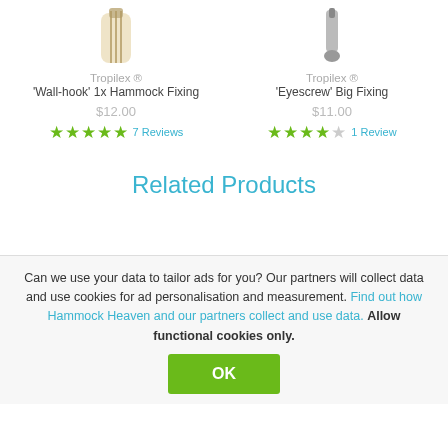[Figure (photo): Product image of Tropilex Wall-hook 1x Hammock Fixing - braided rope/hook]
Tropilex ®
'Wall-hook' 1x Hammock Fixing
$12.00
★★★★★ 7 Reviews
[Figure (photo): Product image of Tropilex Eyescrew Big Fixing - metal screw]
Tropilex ®
'Eyescrew' Big Fixing
$11.00
★★★★☆ 1 Review
Related Products
Can we use your data to tailor ads for you? Our partners will collect data and use cookies for ad personalisation and measurement. Find out how Hammock Heaven and our partners collect and use data. Allow functional cookies only.
OK